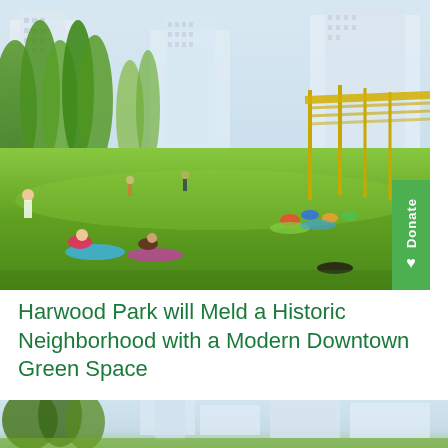[Figure (illustration): Architectural rendering of Harwood Park showing people doing yoga and playing on a large green lawn, surrounded by trees with city buildings in the background. A yellow pergola structure is visible on the right. A green 'Donate' tab is overlaid on the right side.]
Harwood Park will Meld a Historic Neighborhood with a Modern Downtown Green Space
[Figure (illustration): Partial architectural rendering of the park showing trees and city buildings in the background, cropped at bottom of page.]